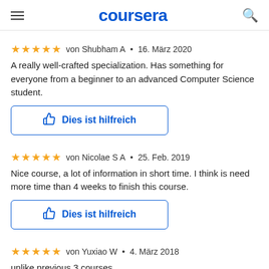coursera
★★★★★ von Shubham A • 16. März 2020
A really well-crafted specialization. Has something for everyone from a beginner to an advanced Computer Science student.
Dies ist hilfreich
★★★★★ von Nicolae S A • 25. Feb. 2019
Nice course, a lot of information in short time. I think is need more time than 4 weeks to finish this course.
Dies ist hilfreich
★★★★★ von Yuxiao W • 4. März 2018
unlike previous 3 courses